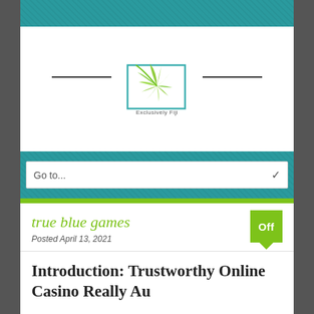[Figure (logo): Exclusively Fiji logo — a palm frond inside a rectangular border with decorative lines on either side and text 'Exclusively Fiji' below]
Go to...
true blue games
Posted April 13, 2021
Introduction: Trustworthy Online Casino Really Au...